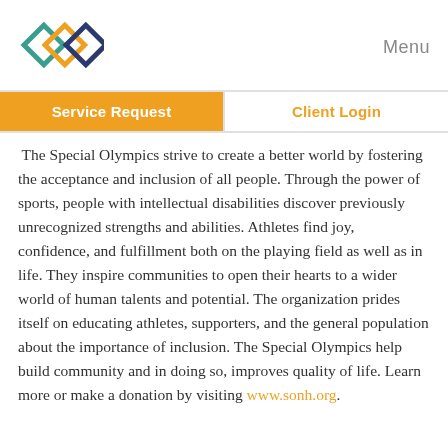[Figure (logo): Overlapping diamond shapes in teal, orange, and dark blue forming an interlocked logo]
Menu
Service Request
Client Login
The Special Olympics strive to create a better world by fostering the acceptance and inclusion of all people. Through the power of sports, people with intellectual disabilities discover previously unrecognized strengths and abilities. Athletes find joy, confidence, and fulfillment both on the playing field as well as in life. They inspire communities to open their hearts to a wider world of human talents and potential. The organization prides itself on educating athletes, supporters, and the general population about the importance of inclusion. The Special Olympics help build community and in doing so, improves quality of life. Learn more or make a donation by visiting www.sonh.org.